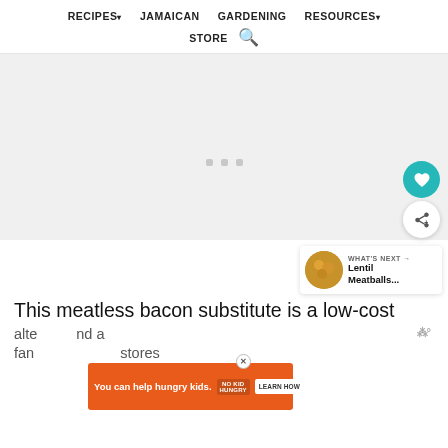RECIPES▾  JAMAICAN  GARDENING  RESOURCES▾  STORE 🔍
[Figure (other): Gray placeholder content area with three small dots in the center, representing a loading or ad area]
WHAT'S NEXT → Lentil Meatballs...
This meatless bacon substitute is a low-cost
alternative... and a fan... stores
[Figure (other): Orange advertisement banner: 'You can help hungry kids.' with No Kid Hungry logo and LEARN HOW button, with X close button]